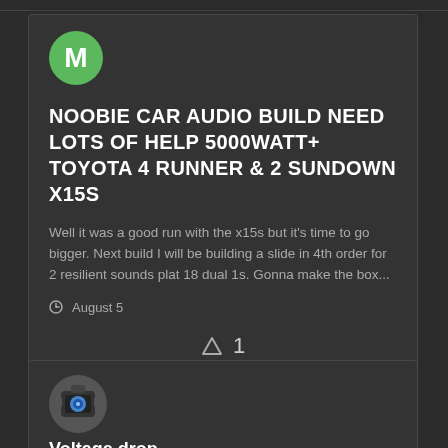[Figure (illustration): Green circular avatar with white letter M]
NOOBIE CAR AUDIO BUILD NEED LOTS OF HELP 5000WATT+ TOYOTA 4 RUNNER & 2 SUNDOWN X15S
Well it was a good run with the x15s but it's time to go bigger. Next build I will be building a slide in 4th order for 2 resilient sounds plat 18 dual 1s. Gonna make the box...
August 5
1 POINT
[Figure (photo): Robot-like avatar icon with blue eye lens, dark helmet]
Voltage drop...